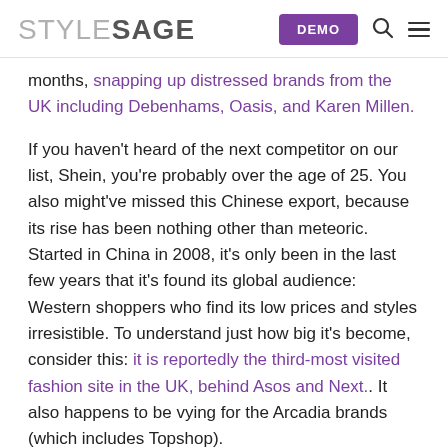STYLESAGE | DEMO
months, snapping up distressed brands from the UK including Debenhams, Oasis, and Karen Millen.
If you haven't heard of the next competitor on our list, Shein, you're probably over the age of 25. You also might've missed this Chinese export, because its rise has been nothing other than meteoric. Started in China in 2008, it's only been in the last few years that it's found its global audience: Western shoppers who find its low prices and styles irresistible. To understand just how big it's become, consider this: it is reportedly the third-most visited fashion site in the UK, behind Asos and Next.. It also happens to be vying for the Arcadia brands (which includes Topshop).
Last but not least, we're including Topshop here. It has